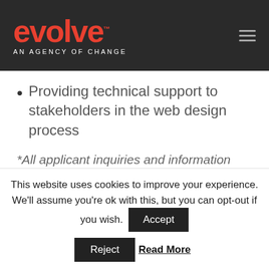[Figure (logo): Evolve logo — red stylized text 'evolve' with TM mark, tagline 'AN AGENCY OF CHANGE' in white, on dark background. Hamburger menu icon top right.]
Providing technical support to stakeholders in the web design process
*All applicant inquiries and information held in strict confidence.
Qualifications:
• (partial text, cut off)
This website uses cookies to improve your experience. We'll assume you're ok with this, but you can opt-out if you wish.
Accept | Reject | Read More